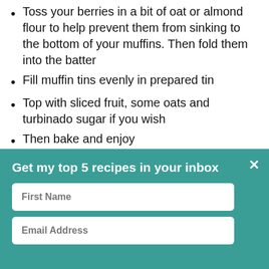Toss your berries in a bit of oat or almond flour to help prevent them from sinking to the bottom of your muffins. Then fold them into the batter
Fill muffin tins evenly in prepared tin
Top with sliced fruit, some oats and turbinado sugar if you wish
Then bake and enjoy
[Figure (screenshot): Email signup popup overlay with teal background. Title: 'Get my top 5 recipes in your inbox'. Fields for First Name and Email Address. Sign up button at bottom. Close X button top right.]